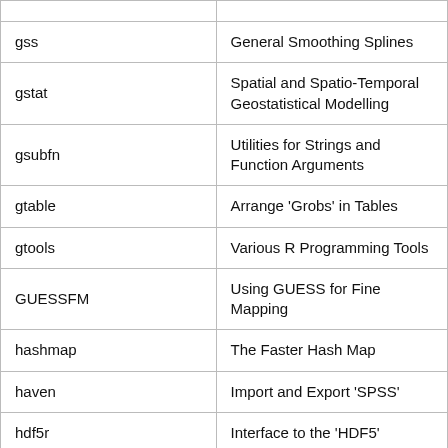| Package | Description |
| --- | --- |
| gss | General Smoothing Splines |
| gstat | Spatial and Spatio-Temporal Geostatistical Modelling |
| gsubfn | Utilities for Strings and Function Arguments |
| gtable | Arrange 'Grobs' in Tables |
| gtools | Various R Programming Tools |
| GUESSFM | Using GUESS for Fine Mapping |
| hashmap | The Faster Hash Map |
| haven | Import and Export 'SPSS' |
| hdf5r | Interface to the 'HDF5' |